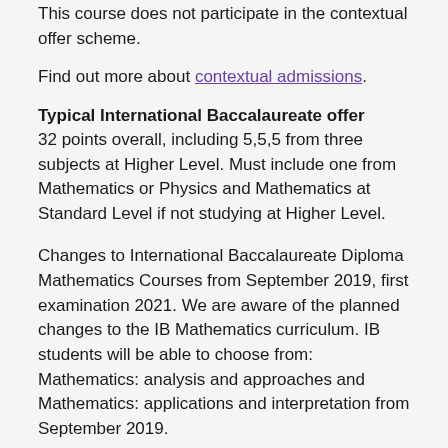This course does not participate in the contextual offer scheme.
Find out more about contextual admissions.
Typical International Baccalaureate offer
32 points overall, including 5,5,5 from three subjects at Higher Level. Must include one from Mathematics or Physics and Mathematics at Standard Level if not studying at Higher Level.
Changes to International Baccalaureate Diploma Mathematics Courses from September 2019, first examination 2021. We are aware of the planned changes to the IB Mathematics curriculum. IB students will be able to choose from: Mathematics: analysis and approaches and Mathematics: applications and interpretation from September 2019.
For this programme of study we will accept